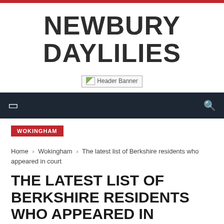NEWBURY DAYLILIES
[Figure (other): Header Banner placeholder image]
Navigation bar with menu and search icons
WOKINGHAM
Home › Wokingham › The latest list of Berkshire residents who appeared in court
THE LATEST LIST OF BERKSHIRE RESIDENTS WHO APPEARED IN